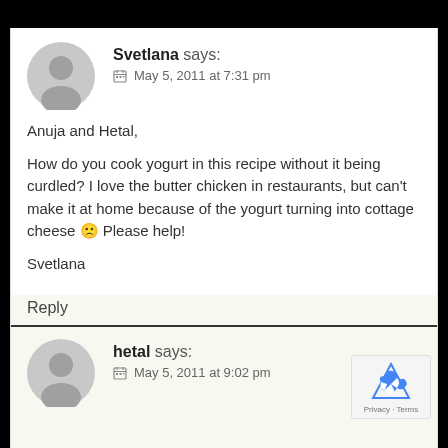[Figure (illustration): Gray circular avatar placeholder for user Svetlana]
Svetlana says:
May 5, 2011 at 7:31 pm
Anuja and Hetal,

How do you cook yogurt in this recipe without it being curdled? I love the butter chicken in restaurants, but can't make it at home because of the yogurt turning into cottage cheese 🙁 Please help!

Svetlana
Reply
[Figure (illustration): Gray circular avatar placeholder for user hetal]
hetal says:
May 5, 2011 at 9:02 pm
[Figure (logo): reCAPTCHA badge with Privacy and Terms links]